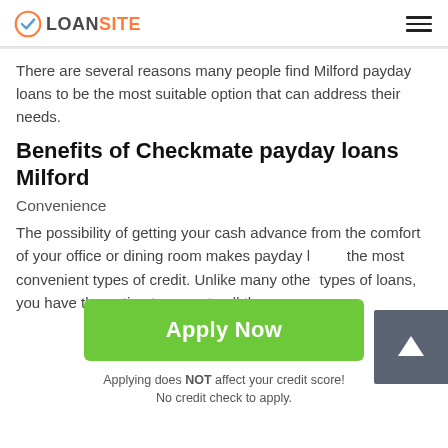LOANSITE
There are several reasons many people find Milford payday loans to be the most suitable option that can address their needs.
Benefits of Checkmate payday loans Milford
Convenience
The possibility of getting your cash advance from the comfort of your office or dining room makes payday loans the most convenient types of credit. Unlike many other types of loans, you have the option to execute all the
[Figure (other): Scroll-to-top button with upward arrow on dark grey square background]
Apply Now
Applying does NOT affect your credit score! No credit check to apply.